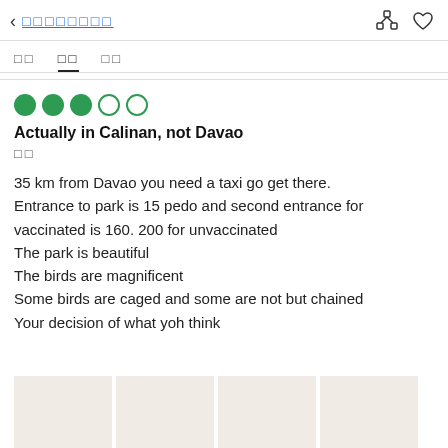< □□□□□□□□
□□  □□  □□
[Figure (infographic): 3 filled green circles and 2 empty green circles representing a 3-out-of-5 star rating]
Actually in Calinan, not Davao
□□
35 km from Davao you need a taxi go get there. Entrance to park is 15 pedo and second entrance for vaccinated is 160. 200 for unvaccinated
The park is beautiful
The birds are magnificent
Some birds are caged and some are not but chained
Your decision of what yoh think
[Figure (photo): Four photo thumbnails at the bottom of the screen, beige/off-white color placeholders]